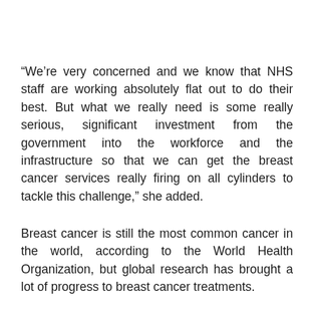“We’re very concerned and we know that NHS staff are working absolutely flat out to do their best. But what we really need is some really serious, significant investment from the government into the workforce and the infrastructure so that we can get the breast cancer services really firing on all cylinders to tackle this challenge,” she added.
Breast cancer is still the most common cancer in the world, according to the World Health Organization, but global research has brought a lot of progress to breast cancer treatments.